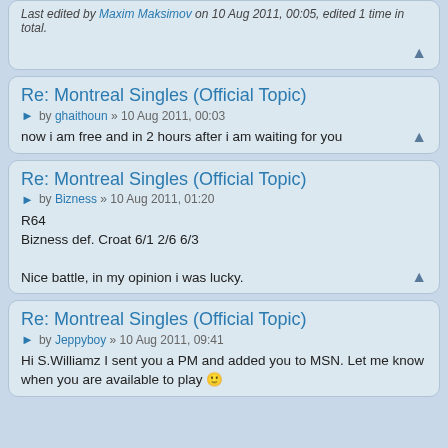Last edited by Maxim Maksimov on 10 Aug 2011, 00:05, edited 1 time in total.
Re: Montreal Singles (Official Topic)
by ghaithoun » 10 Aug 2011, 00:03
now i am free and in 2 hours after i am waiting for you
Re: Montreal Singles (Official Topic)
by Bizness » 10 Aug 2011, 01:20
R64
Bizness def. Croat 6/1 2/6 6/3

Nice battle, in my opinion i was lucky.
Re: Montreal Singles (Official Topic)
by Jeppyboy » 10 Aug 2011, 09:41
Hi S.Williamz I sent you a PM and added you to MSN. Let me know when you are available to play 🙂